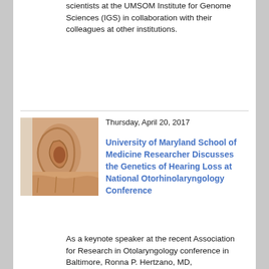scientists at the UMSOM Institute for Genome Sciences (IGS) in collaboration with their colleagues at other institutions.
[Figure (photo): Close-up photo of a human ear with a hand cupped behind it]
Thursday, April 20, 2017
University of Maryland School of Medicine Researcher Discusses the Genetics of Hearing Loss at National Otorhinolaryngology Conference
As a keynote speaker at the recent Association for Research in Otolaryngology conference in Baltimore, Ronna P. Hertzano, MD,